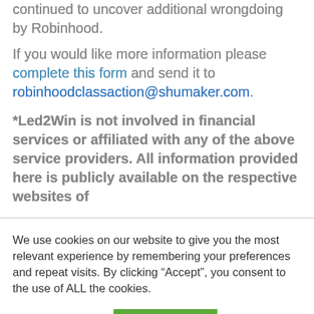continued to uncover additional wrongdoing by Robinhood.
If you would like more information please complete this form and send it to robinhoodclassaction@shumaker.com.
*Led2Win is not involved in financial services or affiliated with any of the above service providers. All information provided here is publicly available on the respective websites of
We use cookies on our website to give you the most relevant experience by remembering your preferences and repeat visits. By clicking “Accept”, you consent to the use of ALL the cookies.
Cookie settings
ACCEPT